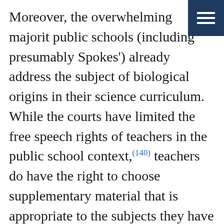Moreover, the overwhelming majority of public schools (including presumably Spokes') already address the subject of biological origins in their science curriculum. While the courts have limited the free speech rights of teachers in the public school context,(140) teachers do have the right to choose supplementary material that is appropriate to the subjects they have been mandated to teach. Likewise, students may certainly learn about current ideas relevant to the subjects they are studying.(141) Further, the Supreme Court has found that teachers, students, and